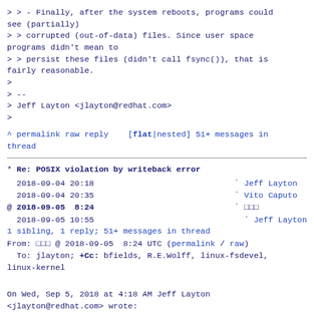> > - Finally, after the system reboots, programs could see (partially)
> > corrupted (out-of-data) files. Since user space programs didn't mean to
> > persist these files (didn't call fsync()), that is fairly reasonable.
>
> --
> Jeff Layton <jlayton@redhat.com>
>
^ permalink raw reply    [flat|nested] 51+ messages in thread
* Re: POSIX violation by writeback error
  2018-09-04 20:18                             ` Jeff Layton
  2018-09-04 20:35                             ` Vito Caputo
@ 2018-09-05  8:24                             ` □□□
  2018-09-05 10:55                               ` Jeff Layton
  1 sibling, 1 reply; 51+ messages in thread
From: □□□ @ 2018-09-05  8:24 UTC (permalink / raw)
  To: jlayton; +Cc: bfields, R.E.Wolff, linux-fsdevel, linux-kernel

On Wed, Sep 5, 2018 at 4:18 AM Jeff Layton <jlayton@redhat.com> wrote:
>
> On Tue, 2018-09-04 at 14:54 -0400, J. Bruce Fields wrote: